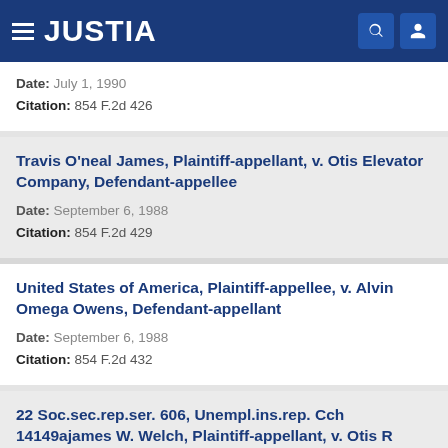JUSTIA
Date: July 1, 1990
Citation: 854 F.2d 426
Travis O'neal James, Plaintiff-appellant, v. Otis Elevator Company, Defendant-appellee
Date: September 6, 1988
Citation: 854 F.2d 429
United States of America, Plaintiff-appellee, v. Alvin Omega Owens, Defendant-appellant
Date: September 6, 1988
Citation: 854 F.2d 432
22 Soc.sec.rep.ser. 606, Unempl.ins.rep. Cch 14149ajames W. Welch, Plaintiff-appellant, v. Otis R